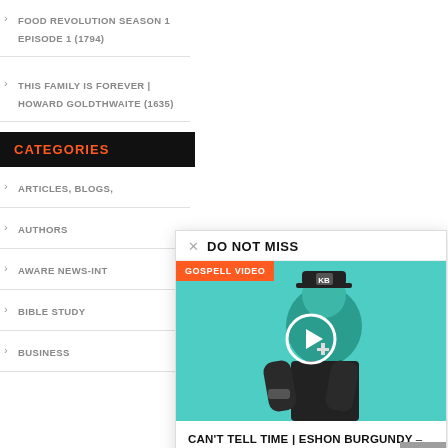FOOD REVOLUTION SEASON 1 EPISODE 1 (1794)
THIS FAMILY IS FOREVER | HOWARD GOLDTHWAITE (1635)
CATEGORIES
ARTICLES, BLOGS,
AUTHORS
AWARE NEWS-INT
BIBLE STUDY
BUSINESS
DO NOT MISS
[Figure (photo): Video thumbnail for 'CAN'T TELL TIME | ESHON BURGUNDY – Spoken Word', showing a man with a hat and cross necklace against a teal/cyan background with a play button overlay. A badge reading 'GOSPELL VIDEO' appears in the top left.]
CAN'T TELL TIME | ESHON BURGUNDY – Spoken Word
2017-01-06  0